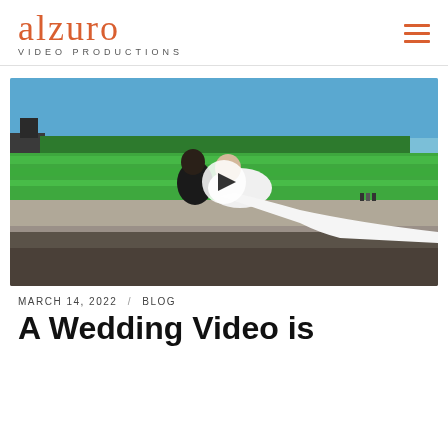alzuro VIDEO PRODUCTIONS
[Figure (photo): Wedding couple sitting on a stone ledge overlooking a green park on a sunny day, with a video play button overlay in the center]
MARCH 14, 2022 / BLOG
A Wedding Video is